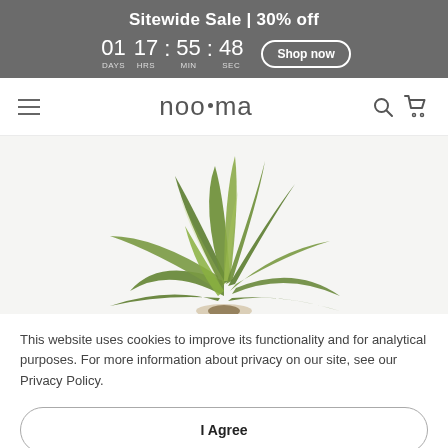Sitewide Sale | 30% off  01 DAYS  17 HRS : 55 MIN : 48 SEC  Shop now
noo.ma
[Figure (photo): A green tropical houseplant with broad spreading leaves on a white/light background]
This website uses cookies to improve its functionality and for analytical purposes. For more information about privacy on our site, see our Privacy Policy.
I Agree